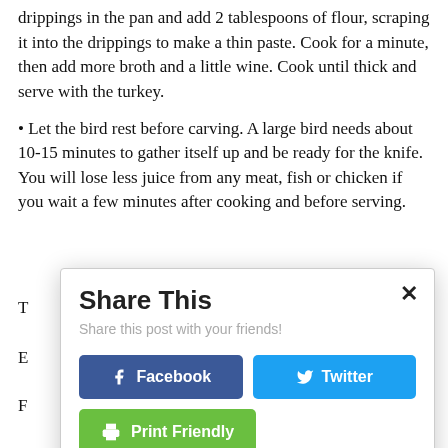drippings in the pan and add 2 tablespoons of flour, scraping it into the drippings to make a thin paste. Cook for a minute, then add more broth and a little wine. Cook until thick and serve with the turkey.
• Let the bird rest before carving. A large bird needs about 10-15 minutes to gather itself up and be ready for the knife. You will lose less juice from any meat, fish or chicken if you wait a few minutes after cooking and before serving.
[Figure (screenshot): A 'Share This' modal dialog overlay with title 'Share This', subtitle 'Share this post with your friends!', and three buttons: Facebook (dark blue), Twitter (light blue), and Print Friendly (green). There is an X close button in the top right corner.]